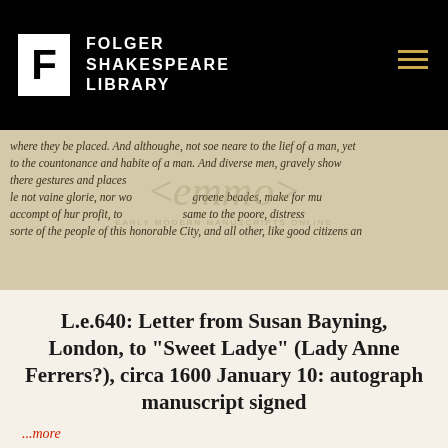Folger Shakespeare Library
[Figure (photo): Background image of an Early Modern manuscript handwritten in italic script, with the EMMO (Early Modern Manuscripts Online) watermark overlaid in the center.]
L.e.640: Letter from Susan Bayning, London, to "Sweet Ladye" (Lady Anne Ferrers?), circa 1600 January 10: autograph manuscript signed
...more